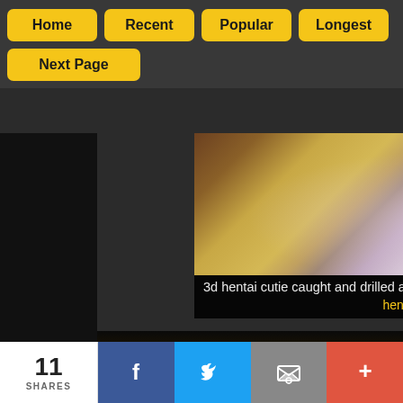[Figure (screenshot): Navigation bar with yellow buttons: Home, Recent, Popular, Longest, Next Page on dark textured background]
[Figure (screenshot): Video thumbnail for '3d hentai cutie caught and drilled all' with tags 'hentai · sexy anime']
[Figure (screenshot): Second video thumbnail, dark scene]
[Figure (screenshot): Social share bar showing 11 SHARES with Facebook, Twitter, email, and more buttons]